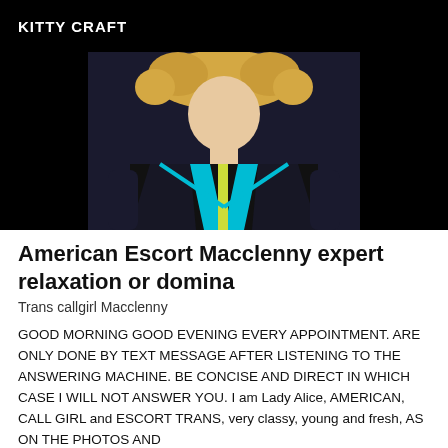KITTY CRAFT
[Figure (photo): Photo of a blonde woman wearing a blue, black, and yellow patterned bodysuit, photographed from the torso up.]
American Escort Macclenny expert relaxation or domina
Trans callgirl Macclenny
GOOD MORNING GOOD EVENING EVERY APPOINTMENT. ARE ONLY DONE BY TEXT MESSAGE AFTER LISTENING TO THE ANSWERING MACHINE. BE CONCISE AND DIRECT IN WHICH CASE I WILL NOT ANSWER YOU. I am Lady Alice, AMERICAN, CALL GIRL and ESCORT TRANS, very classy, young and fresh, AS ON THE PHOTOS AND